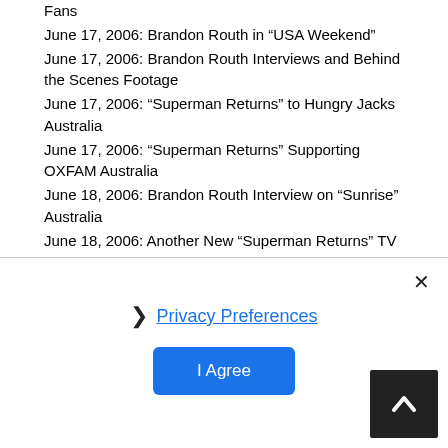Fans
June 17, 2006: Brandon Routh in “USA Weekend”
June 17, 2006: Brandon Routh Interviews and Behind the Scenes Footage
June 17, 2006: “Superman Returns” to Hungry Jacks Australia
June 17, 2006: “Superman Returns” Supporting OXFAM Australia
June 18, 2006: Brandon Routh Interview on “Sunrise” Australia
June 18, 2006: Another New “Superman Returns” TV Spot
June 18, 2006: Brandon Routh in Australia
June 18, 2006: New “Superman Returns” TV Spot & 2 Reviews
June 19, 2006: Exclusive - “Superman Returns” Newspaper Ad
June 19, 2006: “Superman Returns” Reviews Everywhere
June 19, 2006: Listen to the Complete “Superman Returns” Soundtrack
June 19, 2006: “Superman Returns” Video Interviews
June 19, 2006: Routh Supports Troops with “Superman Returns” Screening
June 19, 2006: 14th “Superman Returns” TV Spot with NBA Finals